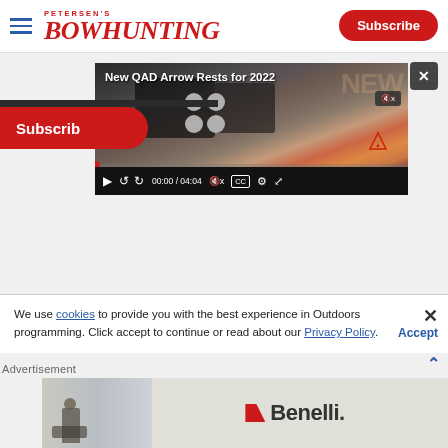Petersen's Bowhunting — Subscribe
[Figure (screenshot): Video player showing 'New QAD Arrow Rests for 2022' with bow equipment close-up, time 00:00 / 04:04, muted, with playback controls]
We use cookies to provide you with the best experience in Outdoors programming. Click accept to continue or read about our Privacy Policy.
Advertisement
[Figure (photo): Benelli advertisement showing hunter in field with Benelli logo]